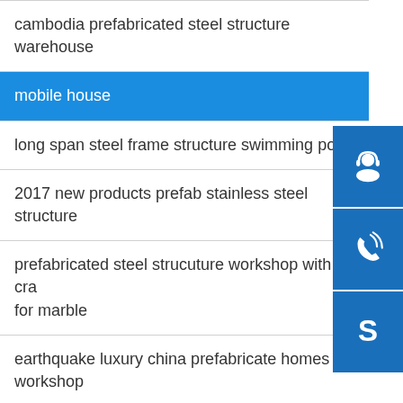cambodia prefabricated steel structure warehouse
mobile house
long span steel frame structure swimming pool
2017 new products prefab stainless steel structure
prefabricated steel strucuture workshop with crane for marble
earthquake luxury china prefabricate homes workshop
modern luxury villa container house